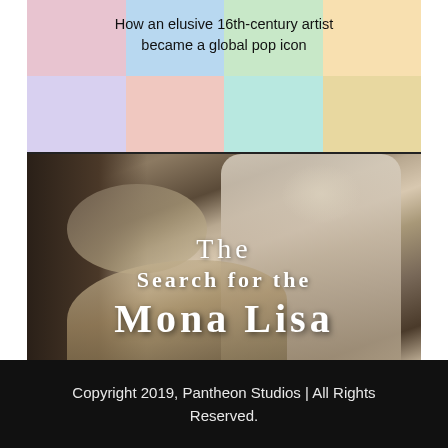[Figure (illustration): Book cover image. Top section: colorful pop-art style grid background with subtitle text 'How an elusive 16th-century artist became a global pop icon'. Bottom section: dark oil-painting style image of a Renaissance painter figure with brushes, overlaid with title text 'The Search for the Mona Lisa' in white serif letters.]
Copyright 2019, Pantheon Studios | All Rights Reserved.